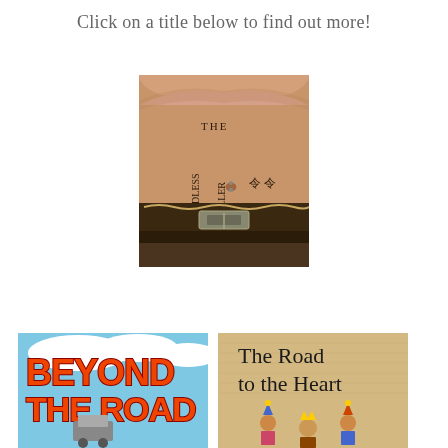Click on a title below to find out more!
[Figure (photo): Book cover for 'The Roadless Traveller' by S. Dean Tretheway, showing text tattooed vertically on a person's stomach with a belly button piercing and belt buckle visible.]
[Figure (photo): Book cover for 'Beyond the Road' showing large bold red and orange 3D text with what appears to be a vehicle or machinery below.]
[Figure (photo): Book cover for 'The Road to the Heart' showing hand-lettered title on a cardboard-textured background with illustrated figures of jesters or medieval characters at the bottom.]